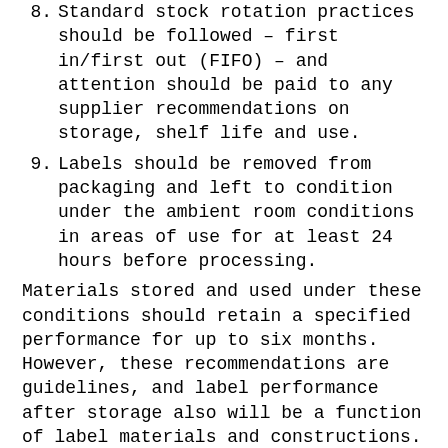8. Standard stock rotation practices should be followed – first in/first out (FIFO) – and attention should be paid to any supplier recommendations on storage, shelf life and use.
9. Labels should be removed from packaging and left to condition under the ambient room conditions in areas of use for at least 24 hours before processing.
Materials stored and used under these conditions should retain a specified performance for up to six months. However, these recommendations are guidelines, and label performance after storage also will be a function of label materials and constructions.
Reference:
1 Inkworks Printing/Inland Label